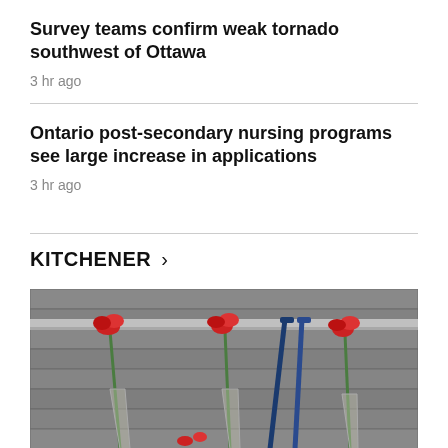Survey teams confirm weak tornado southwest of Ottawa
3 hr ago
Ontario post-secondary nursing programs see large increase in applications
3 hr ago
KITCHENER >
[Figure (photo): Red flowers and hockey sticks leaned against a grey brick wall, appearing to be a memorial]